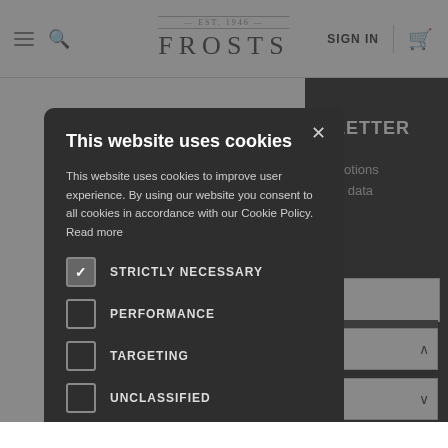FROSTS — EST. 1946 — SIGN IN
This website uses cookies
This website uses cookies to improve user experience. By using our website you consent to all cookies in accordance with our Cookie Policy. Read more
STRICTLY NECESSARY
PERFORMANCE
TARGETING
UNCLASSIFIED
ACCEPT ALL
DECLINE ALL
SHOW DETAILS
NEWSLETTER
promotions
your data
C's